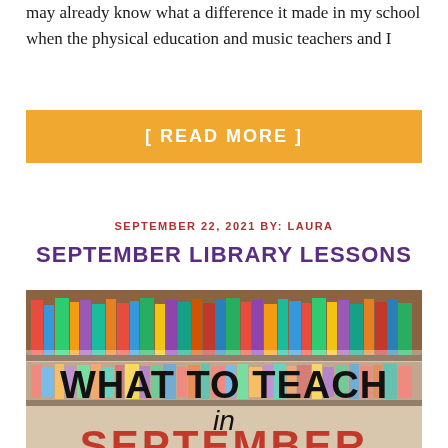may already know what a difference it made in my school when the physical education and music teachers and I
[ READ MORE ]
SEPTEMBER 22, 2021 BY: LAURA
SEPTEMBER LIBRARY LESSONS
[Figure (photo): Photo of a library with bookshelves full of colorful books, overlaid with bold text reading 'WHAT TO TEACH in SEPTEMBER']